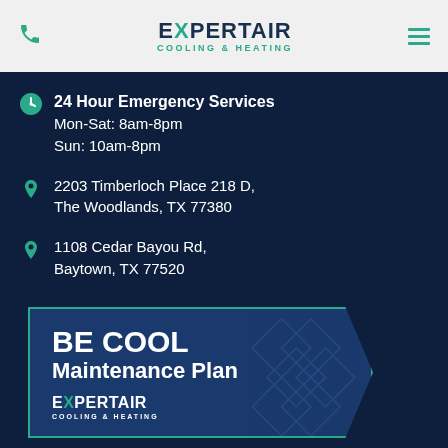EXPERT AIR COOLING & HEATING
24 Hour Emergency Services
Mon-Sat: 8am-8pm
Sun: 10am-8pm
2203 Timberloch Place 218 D, The Woodlands, TX 77380
1108 Cedar Bayou Rd, Baytown, TX 77520
[Figure (infographic): BE COOL Maintenance Plan banner with Expert Air Cooling & Heating logo, teal border, arrow shape pointing right, on dark blue background with subtle diamond pattern]